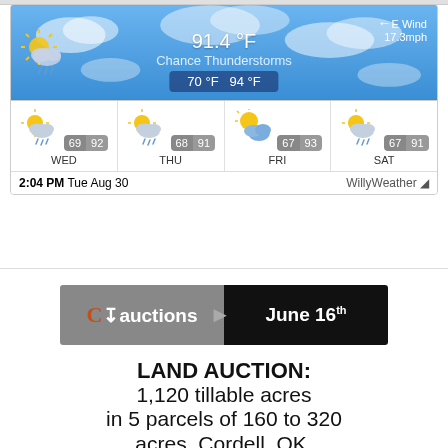[Figure (screenshot): Weather widget showing current conditions: 91.4°F, Chance Thunderstorms, E Wind 17.3mph, Low 70°F High 94°F. Forecast: WED 69/92, THU 68/91, FRI 67/93, SAT 67/91. Timestamp: 2:04 PM Tue Aug 30, WillyWeather.]
[Figure (logo): CJ Auctions logo with 'June 16th' text on black background]
LAND AUCTION:
1,120 tillable acres
in 5 parcels of 160 to 320
acres. Cordell, OK.